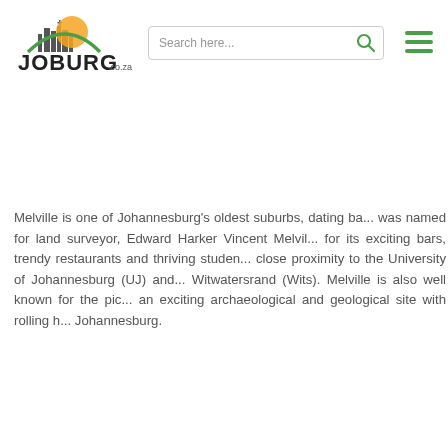[Figure (logo): Joburg.co.za logo with city skyline and orange sun icon above stylized text reading JOBURG.co.za]
Search here...
Melville is one of Johannesburg's oldest suburbs, dating ba... was named for land surveyor, Edward Harker Vincent Melvil... for its exciting bars, trendy restaurants and thriving studen... close proximity to the University of Johannesburg (UJ) and... Witwatersrand (Wits). Melville is also well known for the pic... an exciting archaeological and geological site with rolling h... Johannesburg.